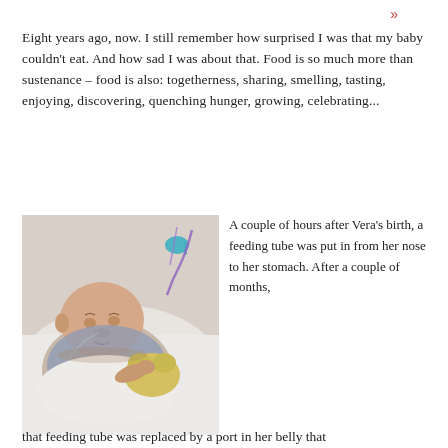»
Eight years ago, now. I still remember how surprised I was that my baby couldn't eat. And how sad I was about that. Food is so much more than sustenance – food is also: togetherness, sharing, smelling, tasting, enjoying, discovering, quenching hunger, growing, celebrating...
[Figure (photo): A newborn baby lying in a hospital bed with a feeding tube from nose, holding a yellow stuffed toy. A pacifier and medical tubes are visible in the background.]
A couple of hours after Vera's birth, a feeding tube was put in from her nose to her stomach. After a couple of months,
that feeding tube was replaced by a port in her belly that